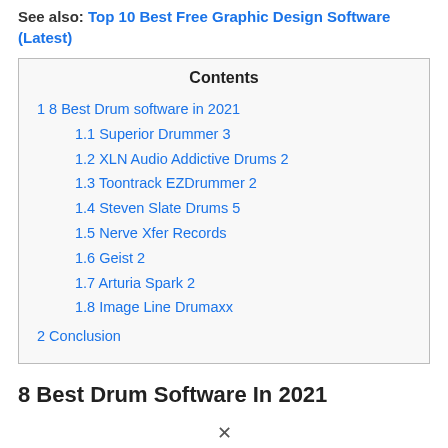See also: Top 10 Best Free Graphic Design Software (Latest)
| Contents |
| --- |
| 1 8 Best Drum software in 2021 |
| 1.1 Superior Drummer 3 |
| 1.2 XLN Audio Addictive Drums 2 |
| 1.3 Toontrack EZDrummer 2 |
| 1.4 Steven Slate Drums 5 |
| 1.5 Nerve Xfer Records |
| 1.6 Geist 2 |
| 1.7 Arturia Spark 2 |
| 1.8 Image Line Drumaxx |
| 2 Conclusion |
8 Best Drum Software In 2021